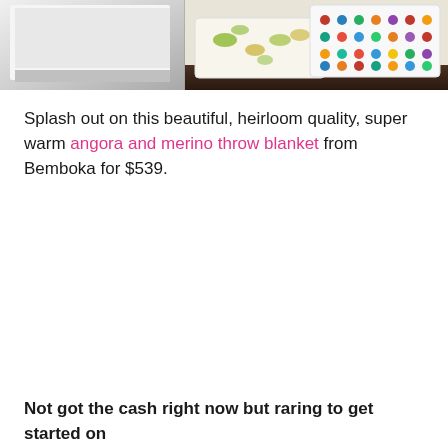[Figure (photo): Photo strip showing bedroom items: left side shows white furniture/bedding, right side shows colorful polka dot pillow and dinosaur-print pillow on dark wooden floor]
Splash out on this beautiful, heirloom quality, super warm angora and merino throw blanket from Bemboka for $539.
Not got the cash right now but raring to get started on